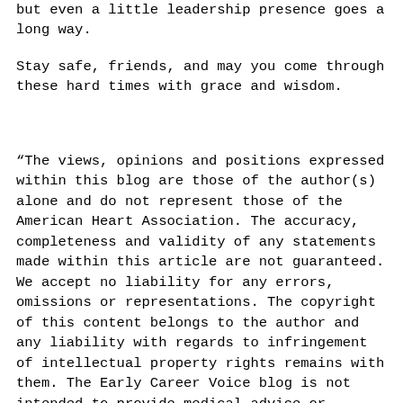but even a little leadership presence goes a long way.
Stay safe, friends, and may you come through these hard times with grace and wisdom.
“The views, opinions and positions expressed within this blog are those of the author(s) alone and do not represent those of the American Heart Association. The accuracy, completeness and validity of any statements made within this article are not guaranteed. We accept no liability for any errors, omissions or representations. The copyright of this content belongs to the author and any liability with regards to infringement of intellectual property rights remains with them. The Early Career Voice blog is not intended to provide medical advice or treatment. Only your healthcare provider can provide that. The American Heart